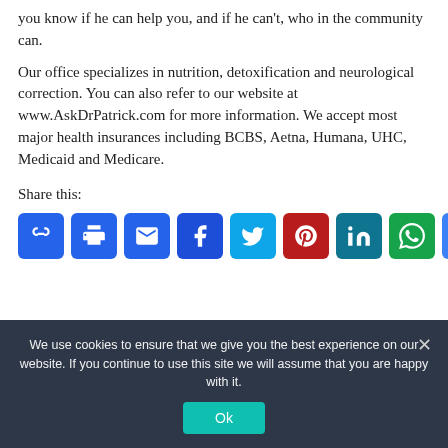you know if he can help you, and if he can't, who in the community can.
Our office specializes in nutrition, detoxification and neurological correction. You can also refer to our website at www.AskDrPatrick.com for more information. We accept most major health insurances including BCBS, Aetna, Humana, UHC, Medicaid and Medicare.
Share this:
[Figure (infographic): Row of social share icon buttons: Copy Link (blue), Print (blue), Email (blue), Facebook (dark blue), Twitter (light blue), Pinterest (red), LinkedIn (teal), WhatsApp (green), More (blue)]
We use cookies to ensure that we give you the best experience on our website. If you continue to use this site we will assume that you are happy with it.